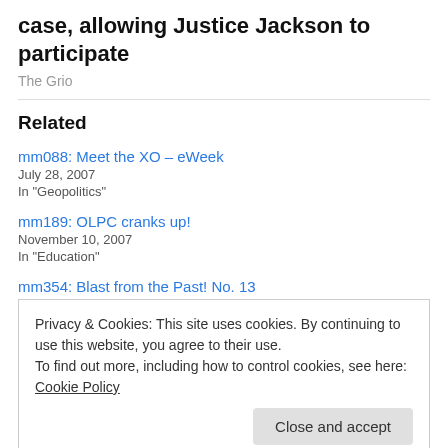case, allowing Justice Jackson to participate
The Grio
Related
mm088: Meet the XO – eWeek
July 28, 2007
In "Geopolitics"
mm189: OLPC cranks up!
November 10, 2007
In "Education"
mm354: Blast from the Past! No. 13
Privacy & Cookies: This site uses cookies. By continuing to use this website, you agree to their use.
To find out more, including how to control cookies, see here: Cookie Policy